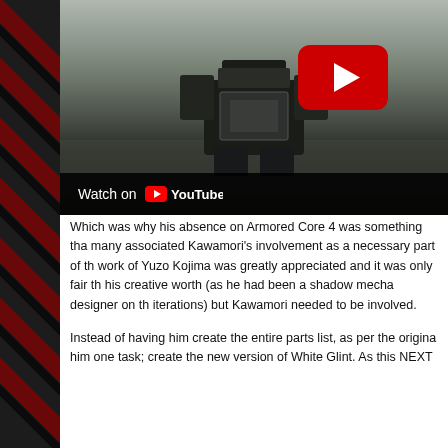[Figure (screenshot): YouTube video thumbnail showing a mecha/robot scene from Armored Core, viewed from behind, with a gray overcast sky background. A red YouTube play button is centered in the upper portion. A 'Watch on YouTube' bar appears at the bottom.]
Which was why his absence on Armored Core 4 was something tha many associated Kawamori's involvement as a necessary part of th work of Yuzo Kojima was greatly appreciated and it was only fair th his creative worth (as he had been a shadow mecha designer on th iterations) but Kawamori needed to be involved.
Instead of having him create the entire parts list, as per the origina him one task; create the new version of White Glint. As this NEXT